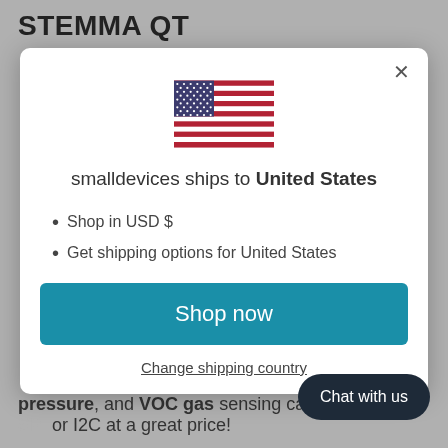STEMMA QT
[Figure (illustration): US flag SVG illustration centered in modal]
smalldevices ships to United States
Shop in USD $
Get shipping options for United States
Shop now
Change shipping country
pressure, and VOC gas sensing capa... SPI or I2C at a great price!
Chat with us